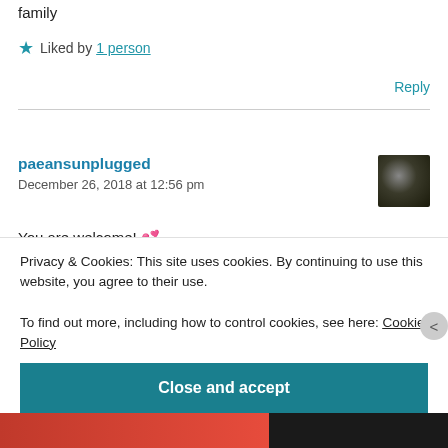family
★ Liked by 1 person
Reply
paeansunplugged
December 26, 2018 at 12:56 pm
You are welcome! 💕
Thank you so much and happy new year to you
Privacy & Cookies: This site uses cookies. By continuing to use this website, you agree to their use.
To find out more, including how to control cookies, see here: Cookie Policy
Close and accept